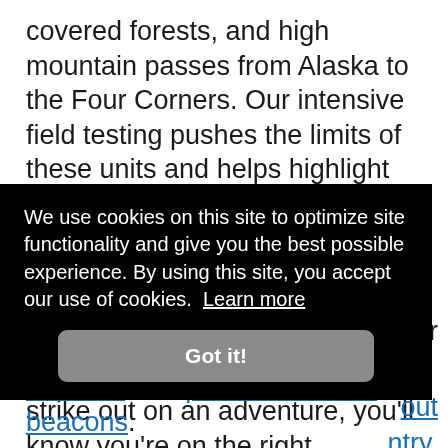covered forests, and high mountain passes from Alaska to the Four Corners. Our intensive field testing pushes the limits of these units and helps highlight strengths and weaknesses relative to the competition. Our comprehensive review goes in-depth to cover the key features, capabilities, and limitations of each device. So next time you strike out on an adventure, you'll know you're on the right [r] [out] [ntry],
[Figure (screenshot): Cookie consent banner overlay with dark background. Text reads: 'We use cookies on this site to optimize site functionality and give you the best possible experience. By using this site, you accept our use of cookies. Learn more'. Below is a 'Got it!' button with rounded corners on a gray background.]
watches and personal locator beacons.